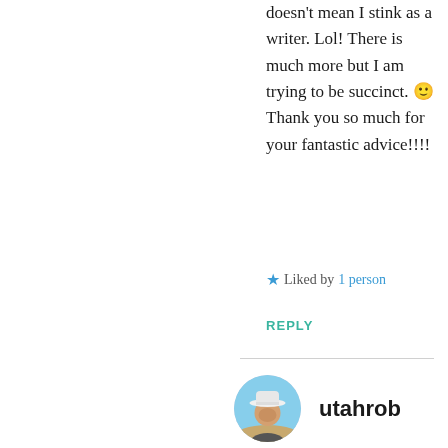doesn't mean I stink as a writer. Lol! There is much more but I am trying to be succinct. 🙂 Thank you so much for your fantastic advice!!!!
★ Liked by 1 person
REPLY
[Figure (photo): Circular avatar photo of user utahrob wearing a white hat outdoors]
utahrob